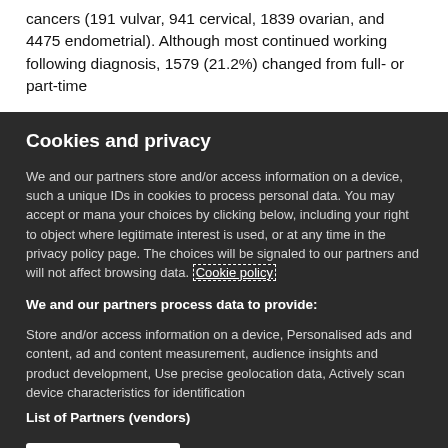cancers (191 vulvar, 941 cervical, 1839 ovarian, and 4475 endometrial). Although most continued working following diagnosis, 1579 (21.2%) changed from full- or part-time
Cookies and privacy
We and our partners store and/or access information on a device, such as unique IDs in cookies to process personal data. You may accept or manage your choices by clicking below, including your right to object where legitimate interest is used, or at any time in the privacy policy page. These choices will be signaled to our partners and will not affect browsing data. Cookie policy
We and our partners process data to provide:
Store and/or access information on a device, Personalised ads and content, ad and content measurement, audience insights and product development, Use precise geolocation data, Actively scan device characteristics for identification
List of Partners (vendors)
I Accept